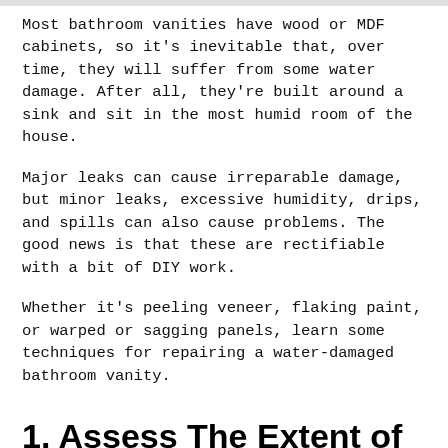Most bathroom vanities have wood or MDF cabinets, so it's inevitable that, over time, they will suffer from some water damage. After all, they're built around a sink and sit in the most humid room of the house.
Major leaks can cause irreparable damage, but minor leaks, excessive humidity, drips, and spills can also cause problems. The good news is that these are rectifiable with a bit of DIY work.
Whether it's peeling veneer, flaking paint, or warped or sagging panels, learn some techniques for repairing a water-damaged bathroom vanity.
1. Assess The Extent of the